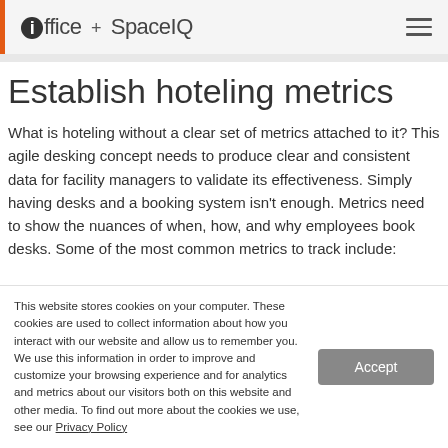ioffice + SpaceIQ
Establish hoteling metrics
What is hoteling without a clear set of metrics attached to it? This agile desking concept needs to produce clear and consistent data for facility managers to validate its effectiveness. Simply having desks and a booking system isn't enough. Metrics need to show the nuances of when, how, and why employees book desks. Some of the most common metrics to track include:
This website stores cookies on your computer. These cookies are used to collect information about how you interact with our website and allow us to remember you. We use this information in order to improve and customize your browsing experience and for analytics and metrics about our visitors both on this website and other media. To find out more about the cookies we use, see our Privacy Policy